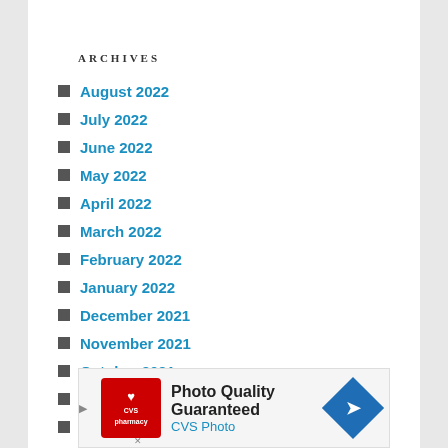ARCHIVES
August 2022
July 2022
June 2022
May 2022
April 2022
March 2022
February 2022
January 2022
December 2021
November 2021
October 2021
September 2021
August 2021
July 2021
June 2021
[Figure (screenshot): CVS Pharmacy advertisement banner: Photo Quality Guaranteed, CVS Photo, with CVS logo and blue arrow icon]